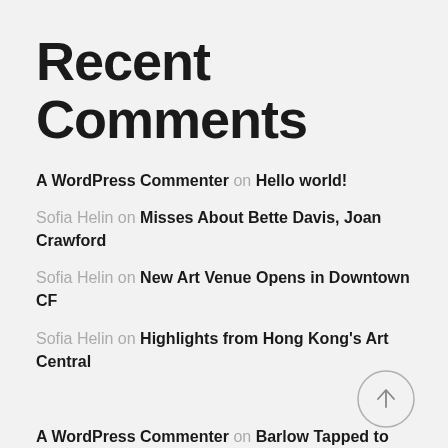Recent Comments
A WordPress Commenter on Hello world!
Sofia Helin on Misses About Bette Davis, Joan Crawford
Sofia Helin on New Art Venue Opens in Downtown CF
Sofia Helin on Highlights from Hong Kong's Art Central
A WordPress Commenter on Barlow Tapped to Head New GMC Prep Art